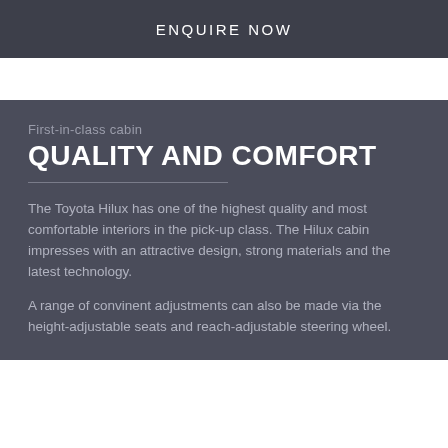ENQUIRE NOW
First-in-class cabin
QUALITY AND COMFORT
The Toyota Hilux has one of the highest quality and most comfortable interiors in the pick-up class. The Hilux cabin impresses with an attractive design, strong materials and the latest technology.
A range of convinent adjustments can also be made via the height-adjustable seats and reach-adjustable steering wheel.